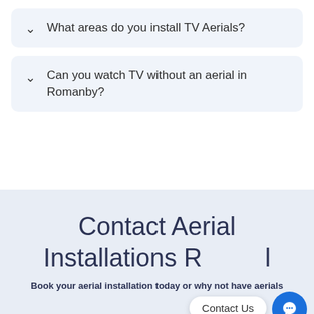What areas do you install TV Aerials?
Can you watch TV without an aerial in Romanby?
Contact Aerial Installations R...l
Book your aerial installation today or why not have aerials
Contact Us